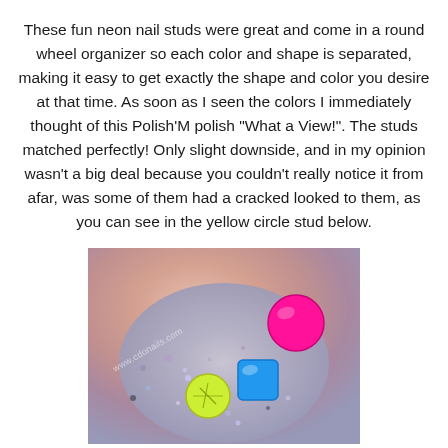These fun neon nail studs were great and come in a round wheel organizer so each color and shape is separated, making it easy to get exactly the shape and color you desire at that time. As soon as I seen the colors I immediately thought of this Polish'M polish "What a View!". The studs matched perfectly! Only slight downside, and in my opinion wasn't a big deal because you couldn't really notice it from afar, was some of them had a cracked looked to them, as you can see in the yellow circle stud below.
[Figure (photo): Close-up photo of a fingernail with glitter polish and colorful nail studs: a yellow-green circle stud with a cracked appearance, a blue square stud, and a hot pink circle stud. The nail has glittery polish with small multicolored pieces. A watermark reading 'www.cdonails.com' is visible.]